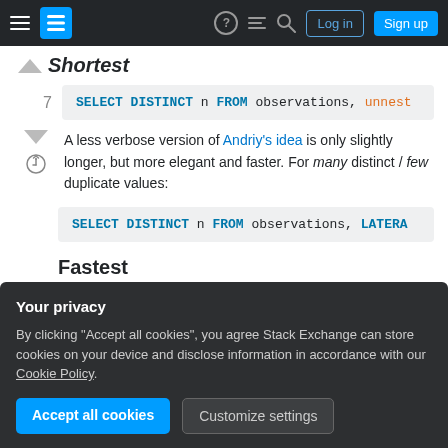Stack Exchange navigation bar with Log in and Sign up buttons
Shortest
SELECT DISTINCT n FROM observations, unnest
A less verbose version of Andriy's idea is only slightly longer, but more elegant and faster. For many distinct / few duplicate values:
SELECT DISTINCT n FROM observations, LATERA
Fastest
Your privacy
By clicking "Accept all cookies", you agree Stack Exchange can store cookies on your device and disclose information in accordance with our Cookie Policy.
UNION ALL